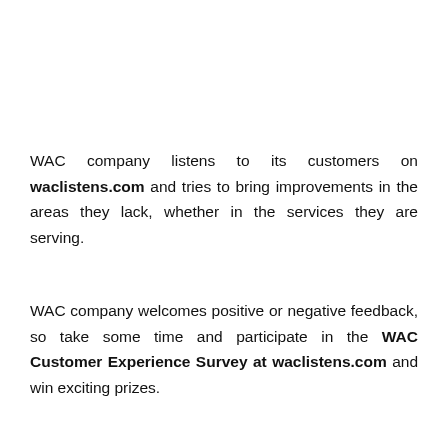WAC company listens to its customers on waclistens.com and tries to bring improvements in the areas they lack, whether in the services they are serving.
WAC company welcomes positive or negative feedback, so take some time and participate in the WAC Customer Experience Survey at waclistens.com and win exciting prizes.